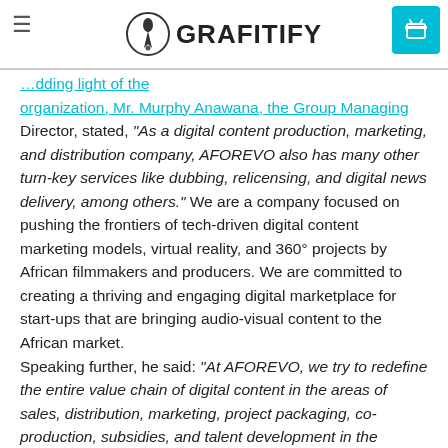GRAFITIFY
...adding light of the organization, Mr. Murphy Anawana, the Group Managing Director, stated, "As a digital content production, marketing, and distribution company, AFOREVO also has many other turn-key services like dubbing, relicensing, and digital news delivery, among others." We are a company focused on pushing the frontiers of tech-driven digital content marketing models, virtual reality, and 360° projects by African filmmakers and producers. We are committed to creating a thriving and engaging digital marketplace for start-ups that are bringing audio-visual content to the African market. Speaking further, he said: "At AFOREVO, we try to redefine the entire value chain of digital content in the areas of sales, distribution, marketing, project packaging, co-production, subsidies, and talent development in the African industry." As underscored by its lead business personnel, the